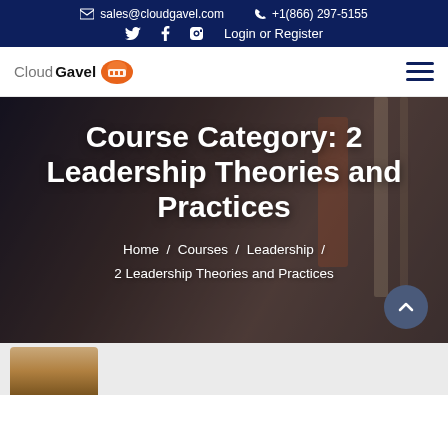sales@cloudgavel.com  +1(866) 297-5155  Twitter  Facebook  LinkedIn  Login or Register
[Figure (logo): CloudGavel logo with cloud icon]
Course Category: 2 Leadership Theories and Practices
Home / Courses / Leadership / 2 Leadership Theories and Practices
[Figure (photo): Blurred background photo of corridor/hallway]
[Figure (photo): Partial thumbnail image at bottom of page]